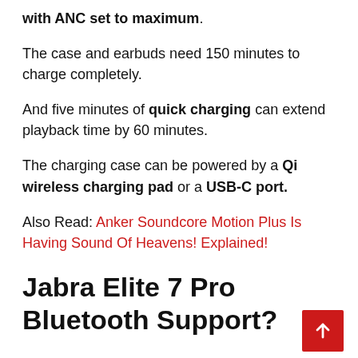with ANC set to maximum.
The case and earbuds need 150 minutes to charge completely.
And five minutes of quick charging can extend playback time by 60 minutes.
The charging case can be powered by a Qi wireless charging pad or a USB-C port.
Also Read: Anker Soundcore Motion Plus Is Having Sound Of Heavens! Explained!
Jabra Elite 7 Pro Bluetooth Support?